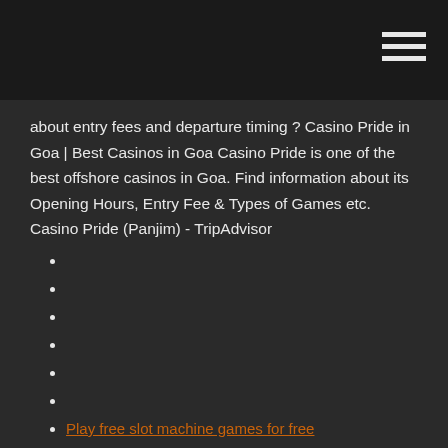about entry fees and departure timing ? Casino Pride in Goa | Best Casinos in Goa Casino Pride is one of the best offshore casinos in Goa. Find information about its Opening Hours, Entry Fee & Types of Games etc. Casino Pride (Panjim) - TripAdvisor
Play free slot machine games for free
Seven clans casino thief river mn